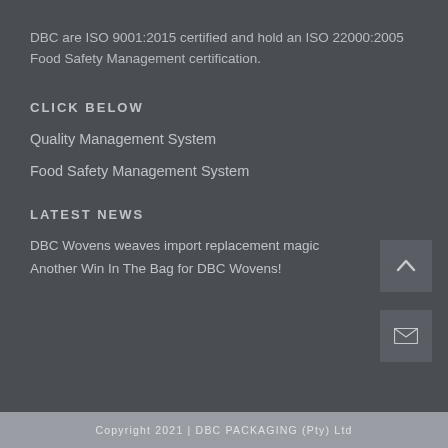DBC are ISO 9001:2015 certified and hold an ISO 22000:2005 Food Safety Management certification.
CLICK BELOW
Quality Management System
Food Safety Management System
LATEST NEWS
DBC Wovens weaves import replacement magic
Another Win In The Bag for DBC Wovens!
Copyright 2021 | DBC PACKAGING (Pty) Ltd